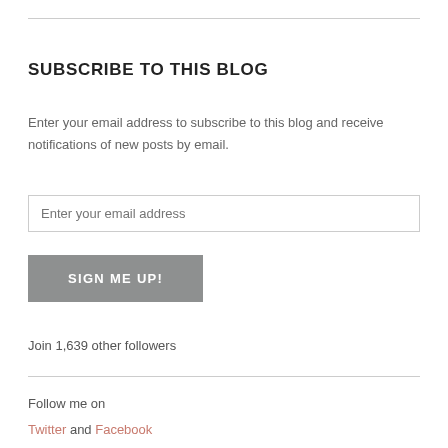SUBSCRIBE TO THIS BLOG
Enter your email address to subscribe to this blog and receive notifications of new posts by email.
[Figure (other): Email input field with placeholder text 'Enter your email address']
[Figure (other): Button labeled 'SIGN ME UP!']
Join 1,639 other followers
Follow me on
Twitter and Facebook